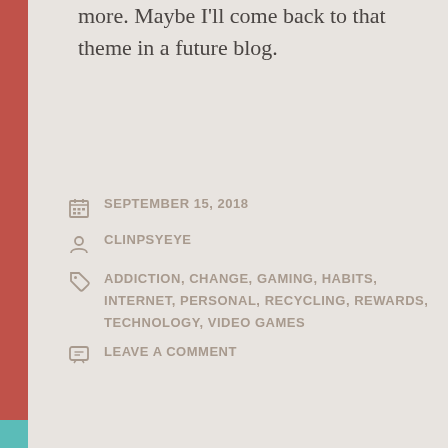more. Maybe I'll come back to that theme in a future blog.
SEPTEMBER 15, 2018
CLINPSYEYE
ADDICTION, CHANGE, GAMING, HABITS, INTERNET, PERSONAL, RECYCLING, REWARDS, TECHNOLOGY, VIDEO GAMES
LEAVE A COMMENT